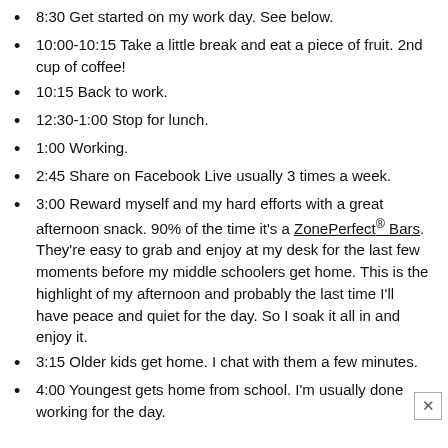8:30 Get started on my work day. See below.
10:00-10:15 Take a little break and eat a piece of fruit. 2nd cup of coffee!
10:15 Back to work.
12:30-1:00 Stop for lunch.
1:00 Working.
2:45 Share on Facebook Live usually 3 times a week.
3:00 Reward myself and my hard efforts with a great afternoon snack. 90% of the time it's a ZonePerfect® Bars. They're easy to grab and enjoy at my desk for the last few moments before my middle schoolers get home. This is the highlight of my afternoon and probably the last time I'll have peace and quiet for the day. So I soak it all in and enjoy it.
3:15 Older kids get home. I chat with them a few minutes.
4:00 Youngest gets home from school. I'm usually done working for the day.